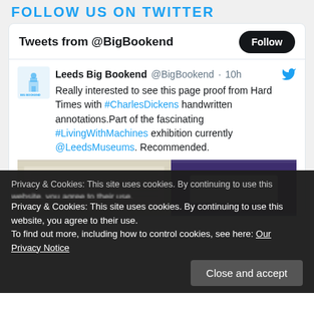FOLLOW US ON TWITTER
Tweets from @BigBookend
Leeds Big Bookend @BigBookend · 10h
Really interested to see this page proof from Hard Times with #CharlesDickens handwritten annotations.Part of the fascinating #LivingWithMachines exhibition currently @LeedsMuseums. Recommended.
[Figure (photo): Two images: left showing a handwritten page proof, right showing a dark purple/blue device]
Privacy & Cookies: This site uses cookies. By continuing to use this website, you agree to their use.
To find out more, including how to control cookies, see here: Our Privacy Notice